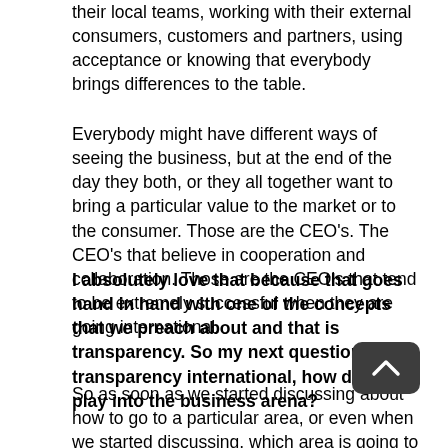their local teams, working with their external consumers, customers and partners, using acceptance or knowing that everybody brings differences to the table.
Everybody might have different ways of seeing the business, but at the end of the day they both, or they all together want to bring a particular value to the market or to the consumer. Those are the CEO's. The CEO's that believe in cooperation and collaboration. Those are the CEO's that tend to be extremely successful when they are going international.
I absolutely love that because that goes hand in hand with one of the concepts that we preach about and that is transparency. So my next question is transparency international, how does that play into the business arena?
So as soon as we started discussing about how to go to a particular area, or even when we started discussing, which area is going to be the best area for me to go internationally speaking of CEO's, we started